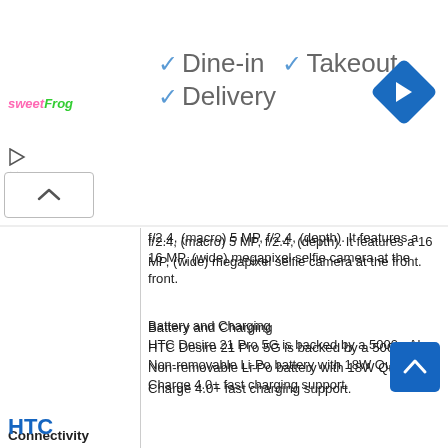[Figure (screenshot): Top UI banner with sweetFrog logo, play/close icons, dine-in/takeout/delivery checklist, and navigation diamond icon]
f/2.4, (macro) 5 MP, f/2.4, (depth). It features a 16 MP, (wide) megapixel selfie camera at the front.
Battery and Charging
HTC Desire 21 Pro 5G is backed by a 5000mAh Non-removable Li-Po battery with 18W Quick Charge 4.0+ fast charging support.
Connectivity
Connectivity aspects onboard include Wi-Fi 802.11 a/b/g/n/ac, dual-band, Wi-Fi Direct, hotspot, Mobile Hotspot, GPS, 2G, 3G and 4G (with support for the band used by some LTE networks in Bangladesh). The phone's sensors include an accelerometer, light sensor, proximity, mass storage device, USB charging, Bluetooth v5.1, A2DP, LE
HTC